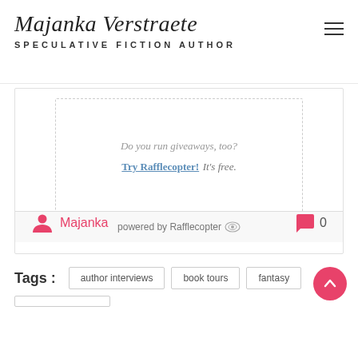Majanka Verstraete SPECULATIVE FICTION AUTHOR
[Figure (screenshot): Rafflecopter giveaway widget with dashed border showing 'Do you run giveaways, too? Try Rafflecopter! It's free.' and 'powered by Rafflecopter' footer bar]
Majanka  0
Tags :  author interviews  book tours  fantasy